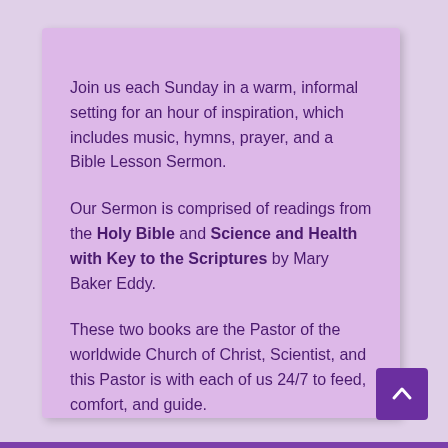Join us each Sunday in a warm, informal setting for an hour of inspiration, which includes music, hymns, prayer, and a Bible Lesson Sermon.
Our Sermon is comprised of readings from the Holy Bible and Science and Health with Key to the Scriptures by Mary Baker Eddy.
These two books are the Pastor of the worldwide Church of Christ, Scientist, and this Pastor is with each of us 24/7 to feed, comfort, and guide.